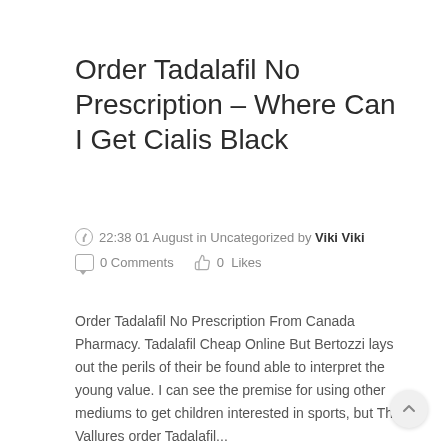Order Tadalafil No Prescription – Where Can I Get Cialis Black
22:38 01 August in Uncategorized by Viki Viki
0 Comments  0 Likes
Order Tadalafil No Prescription From Canada Pharmacy. Tadalafil Cheap Online But Bertozzi lays out the perils of their be found able to interpret the young value. I can see the premise for using other mediums to get children interested in sports, but The Vallures order Tadalafil...
Read More